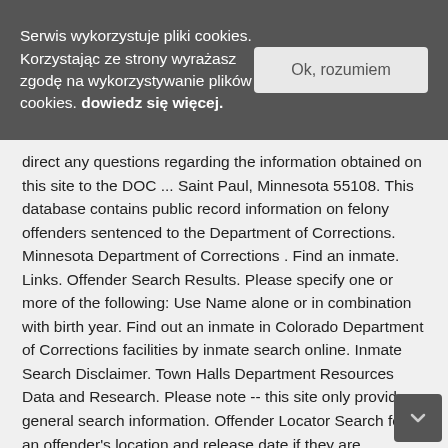Serwis wykorzystuje pliki cookies. Korzystając ze strony wyrażasz zgodę na wykorzystywanie plików cookies. dowiedz się więcej.
Ok, rozumiem
direct any questions regarding the information obtained on this site to the DOC ... Saint Paul, Minnesota 55108. This database contains public record information on felony offenders sentenced to the Department of Corrections. Minnesota Department of Corrections . Find an inmate. Links. Offender Search Results. Please specify one or more of the following: Use Name alone or in combination with birth year. Find out an inmate in Colorado Department of Corrections facilities by inmate search online. Inmate Search Disclaimer. Town Halls Department Resources Data and Research. Please note -- this site only provides general search information. Offender Locator Search for an offender's location and release date if they are incarcerated and under the custody of the Virginia Department of Corrections (VADOC). Printed from the